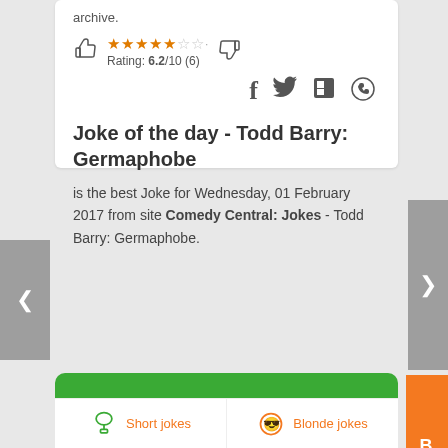archive.
Rating: 6.2/10 (6)
Joke of the day - Todd Barry: Germaphobe
is the best Joke for Wednesday, 01 February 2017 from site Comedy Central: Jokes - Todd Barry: Germaphobe.
Join us on WhatsApp
Short jokes
Blonde jokes